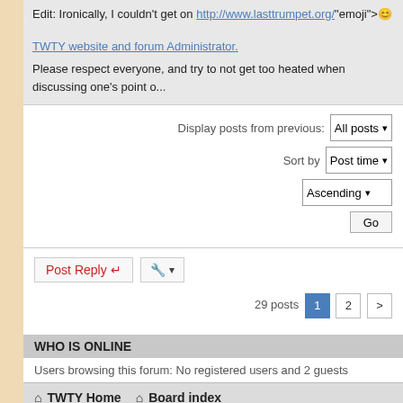Edit: Ironically, I couldn't get on http://www.lasttrumpet.org/ onclick="wi... - not that I'm complaining. The longer it's offline, the better 😊
TWTY website and forum Administrator.
Please respect everyone, and try to not get too heated when discussing one's point o...
Display posts from previous: All posts ▾ Sort by Post time ▾ Ascending ▾ Go
Post Reply ↙
29 posts • 1 2 >
WHO IS ONLINE
Users browsing this forum: No registered users and 2 guests
⌂ TWTY Home ⌂ Board index
Powered by phpBB® Forum Software © phpBB Limi...